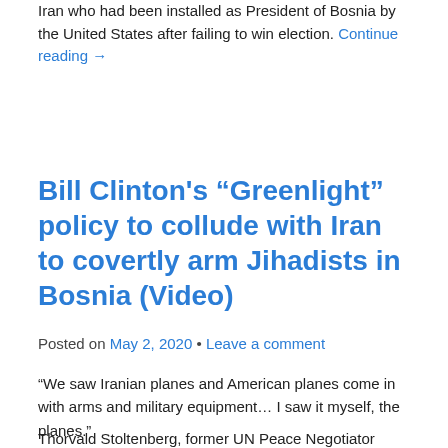Iran who had been installed as President of Bosnia by the United States after failing to win election. Continue reading →
Bill Clinton's “Greenlight” policy to collude with Iran to covertly arm Jihadists in Bosnia (Video)
Posted on May 2, 2020 • Leave a comment
“We saw Iranian planes and American planes come in with arms and military equipment… I saw it myself, the planes.”
Thorvald Stoltenberg, former UN Peace Negotiator